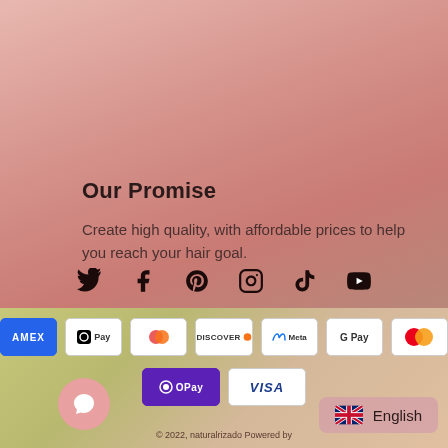Our Promise
Create high quality, with affordable prices to help you reach your hair goal.
[Figure (infographic): Social media icons: Twitter, Facebook, Pinterest, Instagram, TikTok, YouTube]
[Figure (infographic): Payment method badges: AMEX, Apple Pay, Diners Club, Discover, Meta, Google Pay, Mastercard, OPay, VISA]
© 2022, naturalrizado Powered by ...